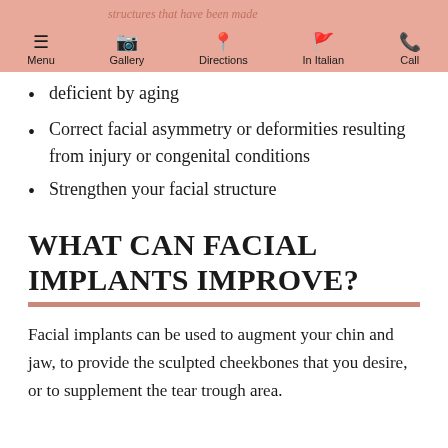Menu | Gallery | Directions | In Italian | Call
deficient by aging
Correct facial asymmetry or deformities resulting from injury or congenital conditions
Strengthen your facial structure
WHAT CAN FACIAL IMPLANTS IMPROVE?
Facial implants can be used to augment your chin and jaw, to provide the sculpted cheekbones that you desire, or to supplement the tear trough area.